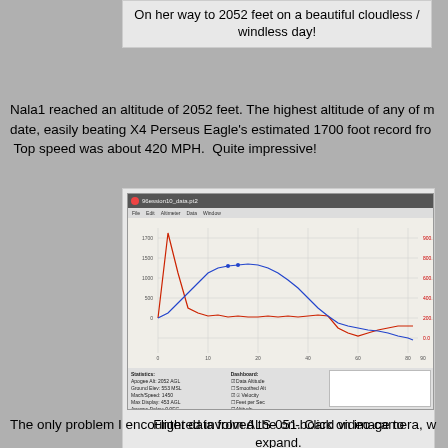On her way to 2052 feet on a beautiful cloudless / windless day!
Nala1 reached an altitude of 2052 feet. The highest altitude of any of m date, easily beating X4 Perseus Eagle's estimated 1700 foot record fro Top speed was about 420 MPH.  Quite impressive!
[Figure (screenshot): Flight data software screenshot (ALS-051) showing altitude vs time plot with red velocity/speed curve peaking early and blue altitude curve rising then falling gradually. Statistics panel at bottom shows Apogee Alt: 2052 ft, Ground Elev: 553 ft, Mach/Speed: 1450, Max Display: 453 AGL, Apogee Delay: 0 SEC, Duration: 14.]
Flight data from ALS-051. Click on image to expand.
The only problem I encountered involved the on-board video camera, w